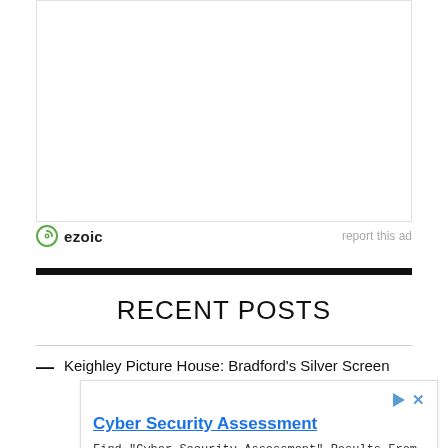[Figure (other): White advertisement area placeholder at the top of the page]
ezoic   report this ad
RECENT POSTS
Keighley Picture House: Bradford's Silver Screen
[Figure (screenshot): Inline advertisement overlay: 'Cyber Security Assessment' — Find "Cyber Security Assessment" Results From TOP Web Search Engines. Cyber Security Assessment [See More button]]